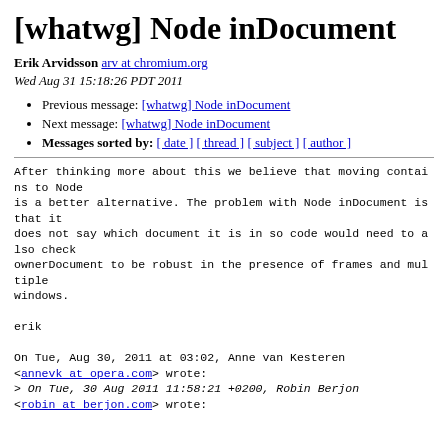[whatwg] Node inDocument
Erik Arvidsson arv at chromium.org
Wed Aug 31 15:18:26 PDT 2011
Previous message: [whatwg] Node inDocument
Next message: [whatwg] Node inDocument
Messages sorted by: [ date ] [ thread ] [ subject ] [ author ]
After thinking more about this we believe that moving contains to Node
is a better alternative. The problem with Node inDocument is that it
does not say which document it is in so code would need to also check
ownerDocument to be robust in the presence of frames and multiple
windows.

erik

On Tue, Aug 30, 2011 at 03:02, Anne van Kesteren
<annevk at opera.com> wrote:
> On Tue, 30 Aug 2011 11:58:21 +0200, Robin Berjon
<robin at berjon.com> wrote: